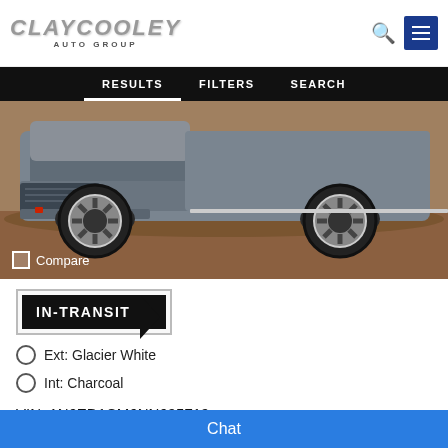CLAYCOOLEY AUTO GROUP
RESULTS   FILTERS   SEARCH
[Figure (photo): Gray pickup truck (Nissan Frontier) photographed outdoors on a rocky/dirt terrain background, front and side view visible]
Compare
[Figure (infographic): IN-TRANSIT badge/arrow graphic on white background]
Ext: Glacier White
Int: Charcoal
VIN: 1N6ED1CM6NN695719
Chat